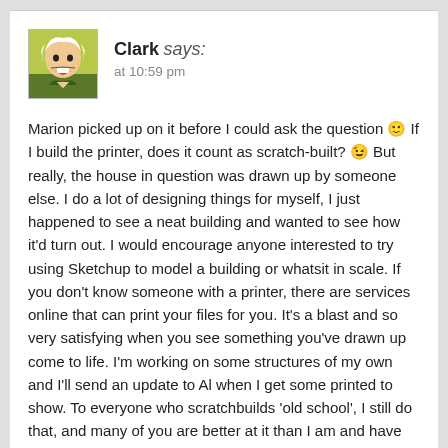[Figure (illustration): Avatar image of Clark — an anime-style character with white hair]
Clark says:
at 10:59 pm
Marion picked up on it before I could ask the question 🙂 If I build the printer, does it count as scratch-built? 😉 But really, the house in question was drawn up by someone else. I do a lot of designing things for myself, I just happened to see a neat building and wanted to see how it'd turn out. I would encourage anyone interested to try using Sketchup to model a building or whatsit in scale. If you don't know someone with a printer, there are services online that can print your files for you. It's a blast and so very satisfying when you see something you've drawn up come to life. I'm working on some structures of my own and I'll send an update to Al when I get some printed to show. To everyone who scratchbuilds 'old school', I still do that, and many of you are better at it than I am and have my respect. I don't see 3D printing replacing scratchbuilding in the near future for